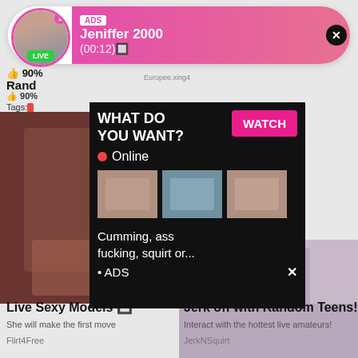[Figure (screenshot): Ad banner with avatar, LIVE badge, ADS label, name Jeniffer 2000, time (00:12), pink gradient background, close X button]
ADS
Jeniffer 2000
(00:12)🔲
LIVE
👍 90%
Rand
👍 90%
Tags:
Europee.xing4
[Figure (photo): Adult content thumbnail left side]
[Figure (screenshot): Popup overlay with WHAT DO YOU WANT? title, WATCH button, Online indicator, three thumbnail images, text about content, ADS label]
WHAT DO YOU WANT?
WATCH
● Online
Cumming, ass fucking, squirt or...
• ADS
[Figure (photo): Adult content thumbnail right side]
Live Sexy Models 🔲
She will make the first move
Flirt4Free
Jerk off with Random Teens!
Interact with the hottest live amateurs!
JerkNSquirt